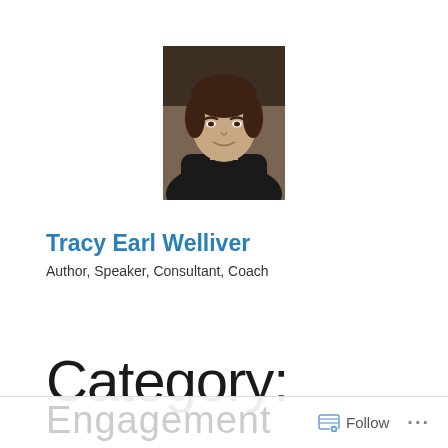[Figure (photo): Profile photo of Tracy Earl Welliver, a man with dark hair, facing camera with a slight smile, wearing dark clothing against a warm background.]
Tracy Earl Welliver
Author, Speaker, Consultant, Coach
Category:
Engagement